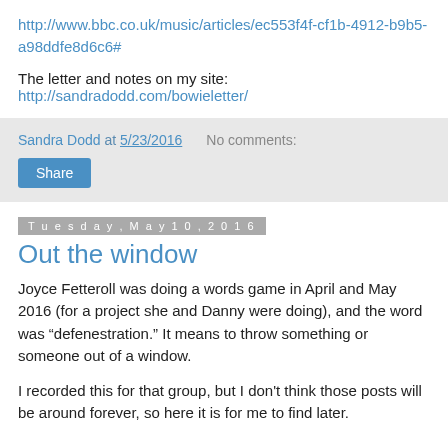http://www.bbc.co.uk/music/articles/ec553f4f-cf1b-4912-b9b5-a98ddfe8d6c6#
The letter and notes on my site:
http://sandradodd.com/bowieletter/
Sandra Dodd at 5/23/2016   No comments:
Share
Tuesday, May 10, 2016
Out the window
Joyce Fetteroll was doing a words game in April and May 2016 (for a project she and Danny were doing), and the word was "defenestration." It means to throw something or someone out of a window.
I recorded this for that group, but I don't think those posts will be around forever, so here it is for me to find later.